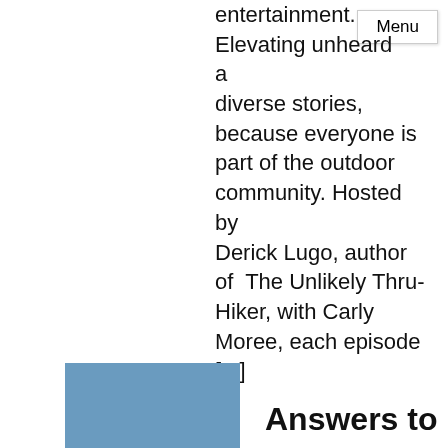entertainment. Elevating unheard and diverse stories, because everyone is part of the outdoor community. Hosted by Derick Lugo, author of The Unlikely Thru-Hiker, with Carly Moree, each episode [...]
Menu
[Figure (illustration): A blue/steel colored rectangular box in the lower left area of the page]
Answers to